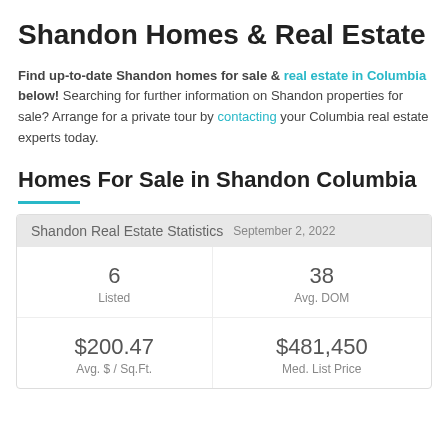Shandon Homes & Real Estate
Find up-to-date Shandon homes for sale & real estate in Columbia below! Searching for further information on Shandon properties for sale? Arrange for a private tour by contacting your Columbia real estate experts today.
Homes For Sale in Shandon Columbia
| Shandon Real Estate Statistics | September 2, 2022 |
| --- | --- |
| 6
Listed | 38
Avg. DOM |
| $200.47
Avg. $ / Sq.Ft. | $481,450
Med. List Price |